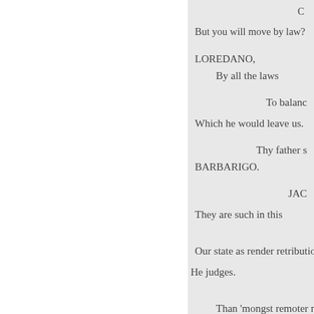C
But you will move by law?
LOREDANO,
    By all the laws
To balanc
Which he would leave us.
Thy father s
BARBARIGO.
JAC
They are such in this
Our state as render retributio
He judges.
Than 'mongst remoter natio
That you have written in yo
Then deem not the laws too ha